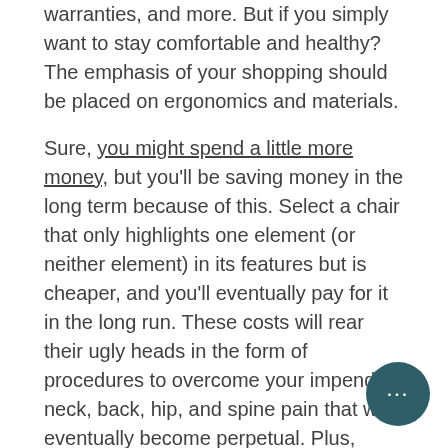warranties, and more. But if you simply want to stay comfortable and healthy? The emphasis of your shopping should be placed on ergonomics and materials.
Sure, you might spend a little more money, but you'll be saving money in the long term because of this. Select a chair that only highlights one element (or neither element) in its features but is cheaper, and you'll eventually pay for it in the long run. These costs will rear their ugly heads in the form of procedures to overcome your impending neck, back, hip, and spine pain that will eventually become perpetual. Plus, when you spend more on an office chair, you can rest assured it will last longer than cheaper options, helping you get more bang for your buck.
[Figure (other): Dark teal circular chat button with three dots (ellipsis) in the bottom right corner]